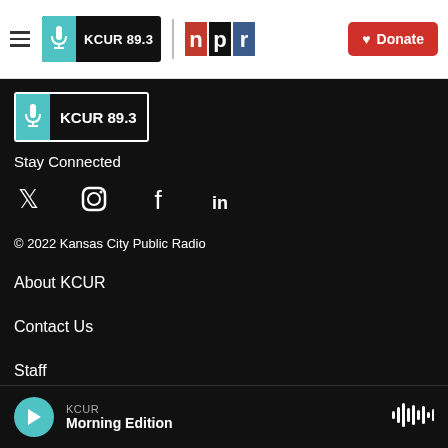KCUR 89.3 | NPR | Donate
[Figure (logo): KCUR 89.3 logo with microphone icon on black background]
Stay Connected
[Figure (infographic): Social media icons: Twitter, Instagram, Facebook, LinkedIn]
© 2022 Kansas City Public Radio
About KCUR
Contact Us
Staff
Jobs
KCUR Morning Edition